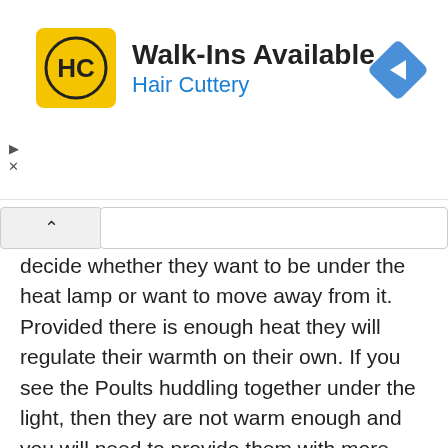[Figure (advertisement): Hair Cuttery advertisement banner with yellow logo showing 'HC' letters, text 'Walk-Ins Available' and 'Hair Cuttery' in blue, and a blue diamond navigation icon on the right.]
decide whether they want to be under the heat lamp or want to move away from it. Provided there is enough heat they will regulate their warmth on their own. If you see the Poults huddling together under the light, then they are not warm enough and you will need to provide them with more warmth, lower the heat lamp or add some alternative heat.

Turkeys should be spread out and moving around comfortable if they are warm enough. If you find your poults spread out